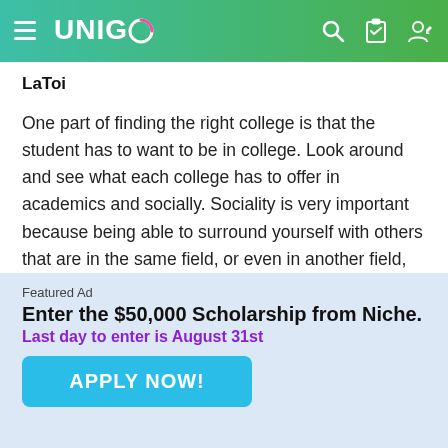UNIGO
LaToi
One part of finding the right college is that the student has to want to be in college. Look around and see what each college has to offer in academics and socially. Sociality is very important because being able to surround yourself with others that are in the same field, or even in another field, helps you accept culture and also helps you to learn from each other. A collge that takes pride in their acadamics and have professors that understand a student and offer more than just being
Featured Ad
Enter the $50,000 Scholarship from Niche.
Last day to enter is August 31st
APPLY NOW!